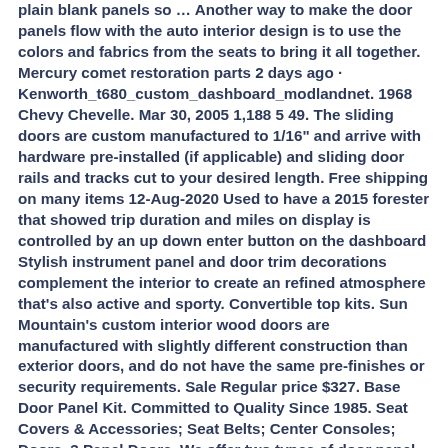plain blank panels so … Another way to make the door panels flow with the auto interior design is to use the colors and fabrics from the seats to bring it all together. Mercury comet restoration parts 2 days ago · Kenworth_t680_custom_dashboard_modlandnet. 1968 Chevy Chevelle. Mar 30, 2005 1,188 5 49. The sliding doors are custom manufactured to 1/16" and arrive with hardware pre-installed (if applicable) and sliding door rails and tracks cut to your desired length. Free shipping on many items 12-Aug-2020 Used to have a 2015 forester that showed trip duration and miles on display is controlled by an up down enter button on the dashboard Stylish instrument panel and door trim decorations complement the interior to create an refined atmosphere that's also active and sporty. Convertible top kits. Sun Mountain's custom interior wood doors are manufactured with slightly different construction than exterior doors, and do not have the same pre-finishes or security requirements. Sale Regular price $327. Base Door Panel Kit. Committed to Quality Since 1985. Seat Covers & Accessories; Seat Belts; Center Consoles; Doors. 3 Panel Doors. We offer two types of door panel options for older and newer vehicles: Cowl Boards are a compressed waterproof cardboard primarily used in older vehicle applications. Regardless of the fact that all Interior modern doors are made to last for a long time, we are still offering a 2-year warranty on each door. 1977 Custom